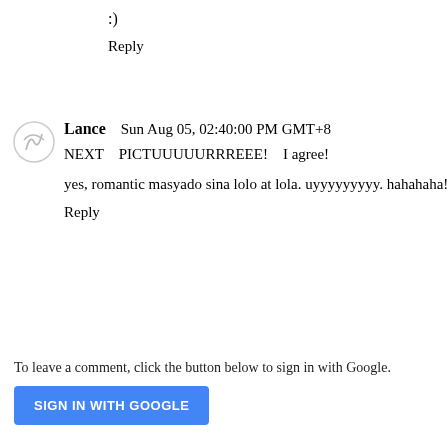:)
Reply
Lance   Sun Aug 05, 02:40:00 PM GMT+8
NEXT PICTUUUUURRREEE! I agree!
yes, romantic masyado sina lolo at lola. uyyyyyyyyy. hahahaha!
Reply
To leave a comment, click the button below to sign in with Google.
SIGN IN WITH GOOGLE